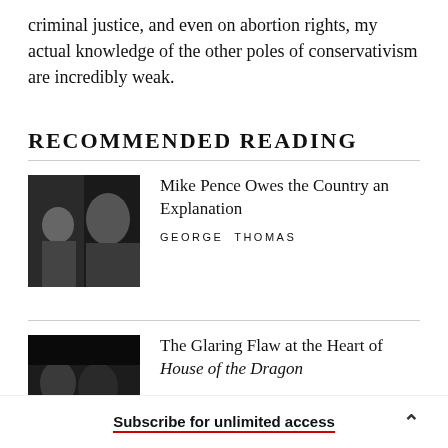criminal justice, and even on abortion rights, my actual knowledge of the other poles of conservativism are incredibly weak.
RECOMMENDED READING
[Figure (photo): Black and white photo of Mike Pence and another person]
Mike Pence Owes the Country an Explanation
GEORGE THOMAS
[Figure (photo): Dark photo related to House of the Dragon]
The Glaring Flaw at the Heart of House of the Dragon
Subscribe for unlimited access